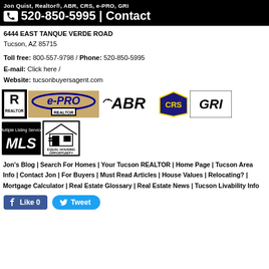Jon Quist, Realtor®, ABR, CRS, e-PRO, GRI
📞 520-850-5995 | Contact
6444 EAST TANQUE VERDE ROAD
Tucson, AZ 85715
Toll free: 800-557-9798 / Phone: 520-850-5995
E-mail: Click here /
Website: tucsonbuyersagent.com
[Figure (logo): Realtor, e-PRO, ABR, CRS, GRI logos]
[Figure (logo): MLS and Equal Housing Opportunity logos]
Jon's Blog | Search For Homes | Your Tucson REALTOR | Home Page | Tucson Area Info | Contact Jon | For Buyers | Must Read Articles | House Values | Relocating? | Mortgage Calculator | Real Estate Glossary | Real Estate News | Tucson Livability Info
[Figure (other): Facebook Like button and Twitter Tweet button]